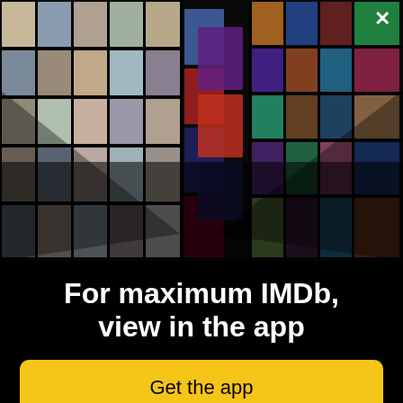[Figure (photo): IMDb app promotional banner showing a collage of celebrity photos and movie/TV posters arranged in a 3D perspective grid on a black background. A white X close button appears in the top right corner.]
For maximum IMDb, view in the app
Get the app
few days. At the camp Kate meets an old flame, Tim, who lets them stay in a tiny caravan for free. During a drunken game of truth or dare, Kate ... overs that all of her friends have slept with